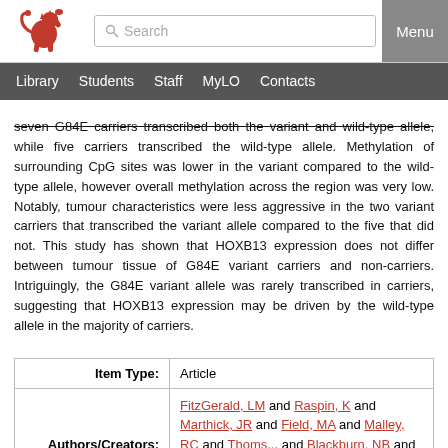University library website header with logo, search bar, and Menu button
Library | Students | Staff | MyLO | Contacts
seven G84E carriers transcribed both the variant and wild-type allele, while five carriers transcribed the wild-type allele. Methylation of surrounding CpG sites was lower in the variant compared to the wild-type allele, however overall methylation across the region was very low. Notably, tumour characteristics were less aggressive in the two variant carriers that transcribed the variant allele compared to the five that did not. This study has shown that HOXB13 expression does not differ between tumour tissue of G84E variant carriers and non-carriers. Intriguingly, the G84E variant allele was rarely transcribed in carriers, suggesting that HOXB13 expression may be driven by the wild-type allele in the majority of carriers.
| Item Type: | Authors/Creators: | Keywords: |
| --- | --- | --- |
| Item Type: | Article |
| Authors/Creators: | FitzGerald, LM and Raspin, K and Marthick, JR and Field, MA and Malley, RC and Thoms... and Blackburn, NB and Banks, A and Charlesworth, JC and Donovan, S and Dickinson, JL |
| Keywords: | prostate cancer, HOXB13, gene expression, |